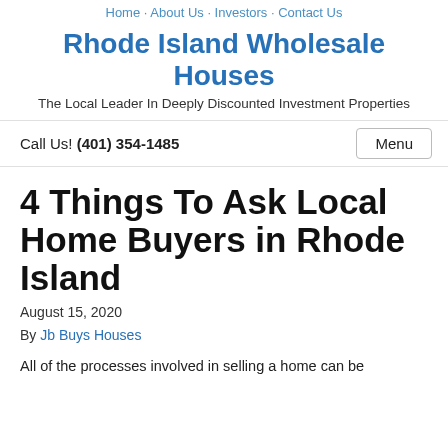Home · About Us · Investors · Contact Us
Rhode Island Wholesale Houses
The Local Leader In Deeply Discounted Investment Properties
Call Us! (401) 354-1485
4 Things To Ask Local Home Buyers in Rhode Island
August 15, 2020
By Jb Buys Houses
All of the processes involved in selling a home can be